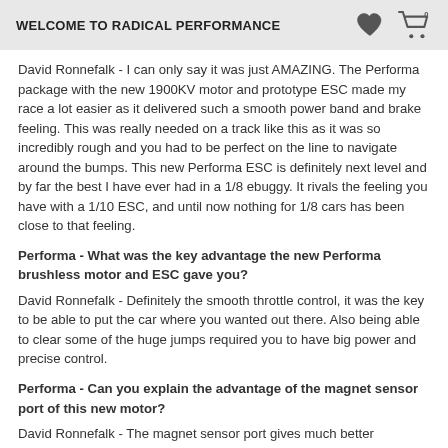WELCOME TO RADICAL PERFORMANCE
David Ronnefalk - I can only say it was just AMAZING. The Performa package with the new 1900KV motor and prototype ESC made my race a lot easier as it delivered such a smooth power band and brake feeling. This was really needed on a track like this as it was so incredibly rough and you had to be perfect on the line to navigate around the bumps. This new Performa ESC is definitely next level and by far the best I have ever had in a 1/8 ebuggy. It rivals the feeling you have with a 1/10 ESC, and until now nothing for 1/8 cars has been close to that feeling.
Performa - What was the key advantage the new Performa brushless motor and ESC gave you?
David Ronnefalk - Definitely the smooth throttle control, it was the key to be able to put the car where you wanted out there. Also being able to clear some of the huge jumps required you to have big power and precise control.
Performa - Can you explain the advantage of the magnet sensor port of this new motor?
David Ronnefalk - The magnet sensor port gives much better